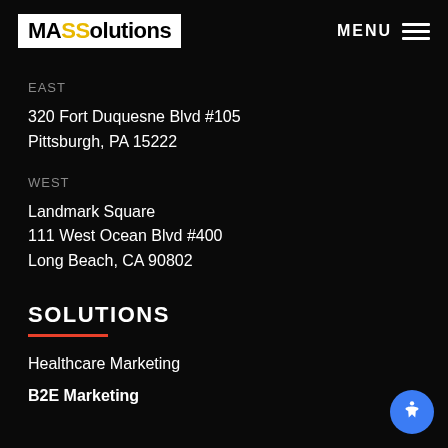MASSolutions | MENU
EAST
320 Fort Duquesne Blvd #105
Pittsburgh, PA 15222
WEST
Landmark Square
111 West Ocean Blvd #400
Long Beach, CA 90802
SOLUTIONS
Healthcare Marketing
B2E Marketing